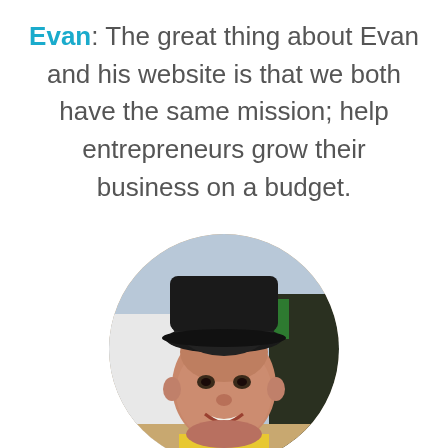Evan: The great thing about Evan and his website is that we both have the same mission; help entrepreneurs grow their business on a budget.
[Figure (photo): Circular portrait photo of a man wearing a black cap, smiling, outdoors]